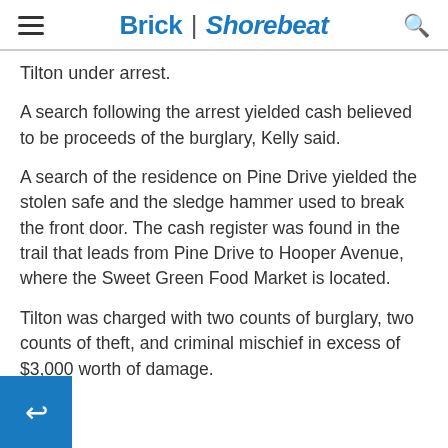Brick | Shorebeat
Tilton under arrest.
A search following the arrest yielded cash believed to be proceeds of the burglary, Kelly said.
A search of the residence on Pine Drive yielded the stolen safe and the sledge hammer used to break the front door. The cash register was found in the trail that leads from Pine Drive to Hooper Avenue, where the Sweet Green Food Market is located.
Tilton was charged with two counts of burglary, two counts of theft, and criminal mischief in excess of $3,000 worth of damage.